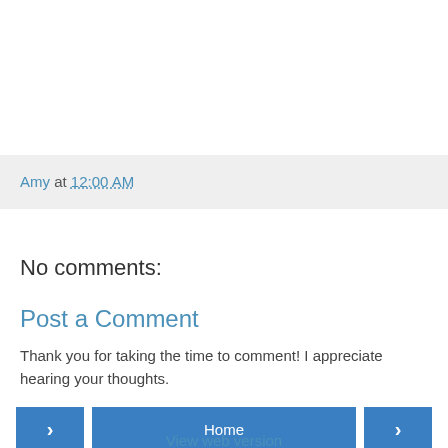Amy at 12:00 AM
No comments:
Post a Comment
Thank you for taking the time to comment! I appreciate hearing your thoughts.
< Home > View web version